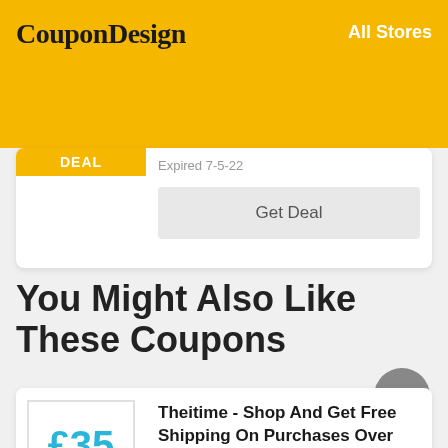CouponDesign  All Stores
DEAL  Expired 7-5-22
Get Deal
You Might Also Like These Coupons
£35
Theitime - Shop And Get Free Shipping On Purchases Over £35
DEAL